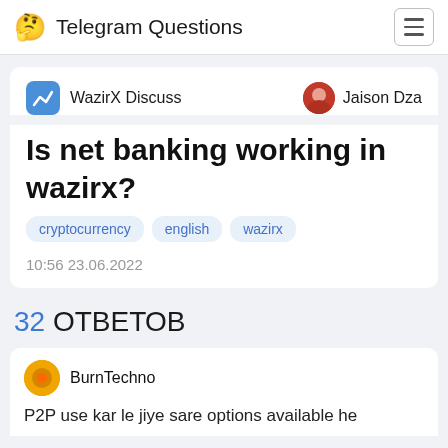Telegram Questions
WazirX Discuss  Jaison Dza
Is net banking working in wazirx?
cryptocurrency
english
wazirx
10:56 23.06.2022
32 ОТВЕТОВ
BurnTechno
P2P use kar le jiye sare options available he